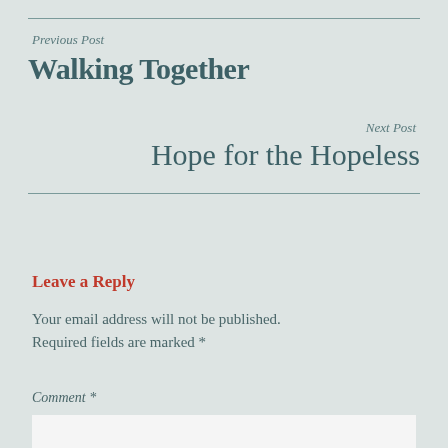Previous Post
Walking Together
Next Post
Hope for the Hopeless
Leave a Reply
Your email address will not be published. Required fields are marked *
Comment *